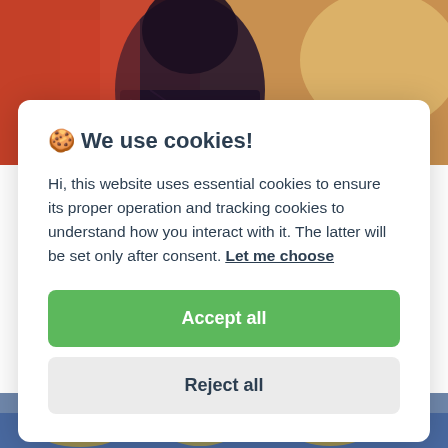[Figure (photo): Background photo showing a person with dark hair against a blurred red background, partially visible behind a cookie consent modal]
🍪 We use cookies!
Hi, this website uses essential cookies to ensure its proper operation and tracking cookies to understand how you interact with it. The latter will be set only after consent. Let me choose
Accept all
Reject all